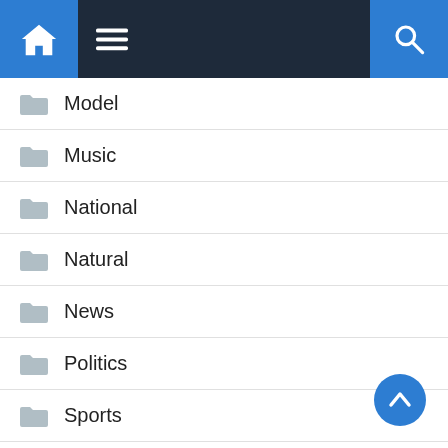Navigation bar with home, menu, and search icons
Model
Music
National
Natural
News
Politics
Sports
Technology
Uncategorized
Women